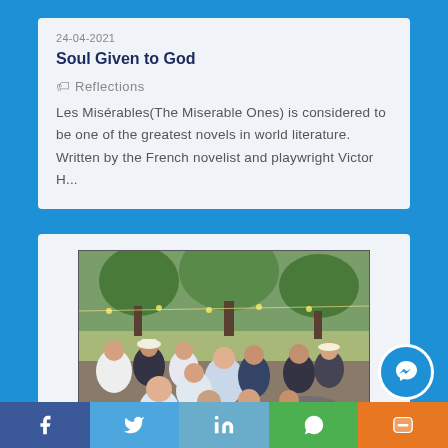24-04-2021
Soul Given to God
Reflections
Les Misérables(The Miserable Ones) is considered to be one of the greatest novels in world literature. Written by the French novelist and playwright Victor H…
[Figure (illustration): Impressionist painting of a crowded outdoor dance scene with many figures, reminiscent of Renoir's Bal du moulin de la Galette]
f
🐦
in
WhatsApp icon
YouTube icon